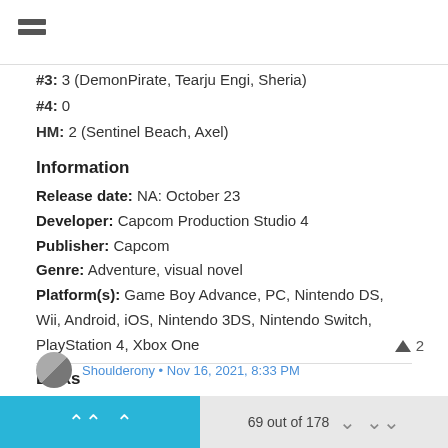#3: 3 (DemonPirate, Tearju Engi, Sheria)
#4: 0
HM: 2 (Sentinel Beach, Axel)
Information
Release date: NA: October 23
Developer: Capcom Production Studio 4
Publisher: Capcom
Genre: Adventure, visual novel
Platform(s): Game Boy Advance, PC, Nintendo DS, Wii, Android, iOS, Nintendo 3DS, Nintendo Switch, PlayStation 4, Xbox One
Links
Trailer
Wikipedia
69 out of 178